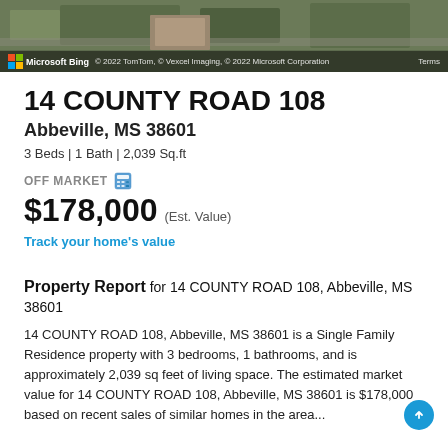[Figure (photo): Aerial/satellite map view of property area via Microsoft Bing Maps with copyright overlay showing TomTom, Vexcel Imaging, Microsoft Corporation]
14 COUNTY ROAD 108
Abbeville, MS 38601
3 Beds | 1 Bath | 2,039 Sq.ft
OFF MARKET
$178,000 (Est. Value)
Track your home's value
Property Report for 14 COUNTY ROAD 108, Abbeville, MS 38601
14 COUNTY ROAD 108, Abbeville, MS 38601 is a Single Family Residence property with 3 bedrooms, 1 bathrooms, and is approximately 2,039 sq feet of living space. The estimated market value for 14 COUNTY ROAD 108, Abbeville, MS 38601 is $178,000 based on recent sales of similar homes in the area...